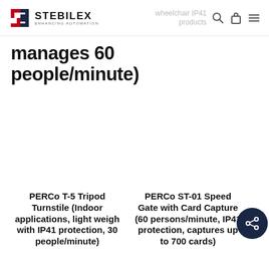STEBILEX ENHANCING AUTOMATION — wheelchair IP41 products
manages 60 people/minute)
PERCo T-5 Tripod Turnstile (Indoor applications, light weigh with IP41 protection, 30 people/minute)
PERCo ST-01 Speed Gate with Card Capture (60 persons/minute, IP41 protection, captures up to 700 cards)